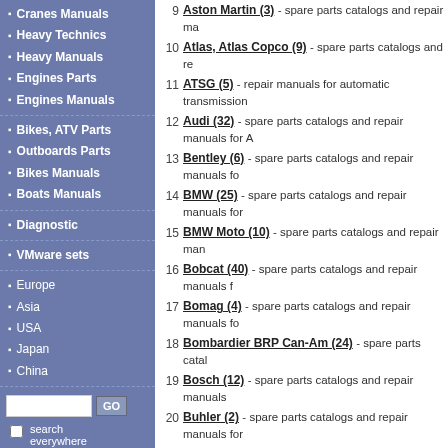Cranes Manuals
Heavy Technics
Heavy Manuals
Engines Parts
Engines Manuals
Bikes, ATV Parts
Outboards Parts
Bikes Manuals
Boats Manuals
Diagnostic
VMware sets
Europe
Asia
USA
Japan
China
Forum
For Print
9. Aston Martin (3) - spare parts catalogs and repair manuals
10. Atlas, Atlas Copco (9) - spare parts catalogs and repair manuals
11. ATSG (5) - repair manuals for automatic transmission
12. Audi (32) - spare parts catalogs and repair manuals for Audi
13. Bentley (6) - spare parts catalogs and repair manuals for Bentley
14. BMW (25) - spare parts catalogs and repair manuals for BMW
15. BMW Moto (10) - spare parts catalogs and repair manuals
16. Bobcat (40) - spare parts catalogs and repair manuals
17. Bomag (4) - spare parts catalogs and repair manuals for Bomag
18. Bombardier BRP Can-Am (24) - spare parts catalogs
19. Bosch (12) - spare parts catalogs and repair manuals
20. Buhler (2) - spare parts catalogs and repair manuals for Buhler
21. C-Service (2) - spare parts catalogs and repair manuals
22. Case (12) - electronic spare parts catalogs for Case tech
23. Case Repair Manuals (293) - repair manuals for agricultural, operator manuals. Case workshop manual or Case wiring
24. Caterpillar (49) - spare parts catalogs and repair manuals
25. Caterpillar Forklifts and Lifttrucks (55) - spare parts
26. Cesab (26) - spare parts catalogs and repair manuals for Cesab
27. Challenger (8) - spare parts and repair manuals for AG
28. Chevrolet (6) - spare parts catalogs and repair manuals
29. Chinese cars (18) - spare parts catalogs and repair manuals